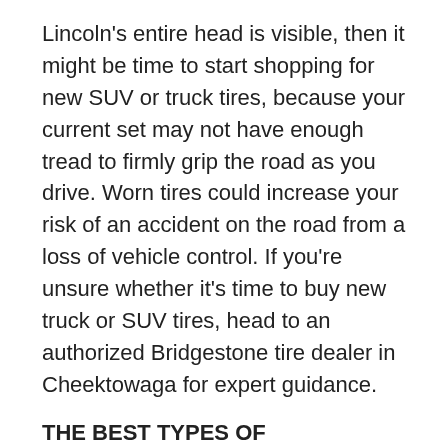Lincoln's entire head is visible, then it might be time to start shopping for new SUV or truck tires, because your current set may not have enough tread to firmly grip the road as you drive. Worn tires could increase your risk of an accident on the road from a loss of vehicle control. If you're unsure whether it's time to buy new truck or SUV tires, head to an authorized Bridgestone tire dealer in Cheektowaga for expert guidance.
THE BEST TYPES OF BRIDGESTONE TRUCK TIRES IN CHEEKTOWAGA, NY
Bridgestone makes several types of truck and SUV tires to provide you ample options. All-season truck tires are ideal for those who need year-round performance without sacrificing a sleek appearance. For drivers who brave the path less traveled, all-terrain truck tires can optimize your vehicle's performance. All-terrain truck tires by Bridgestone are made for rough driving, and they're a must-have for off-road escapades and active lifestyles. If you rely on your